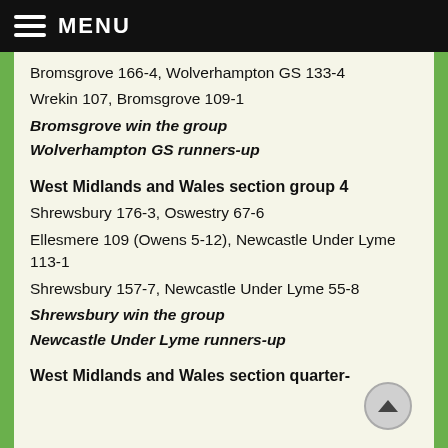MENU
Bromsgrove 166-4, Wolverhampton GS 133-4
Wrekin 107, Bromsgrove 109-1
Bromsgrove win the group
Wolverhampton GS runners-up
West Midlands and Wales section group 4
Shrewsbury 176-3, Oswestry 67-6
Ellesmere 109 (Owens 5-12), Newcastle Under Lyme 113-1
Shrewsbury 157-7, Newcastle Under Lyme 55-8
Shrewsbury win the group
Newcastle Under Lyme runners-up
West Midlands and Wales section quarter-